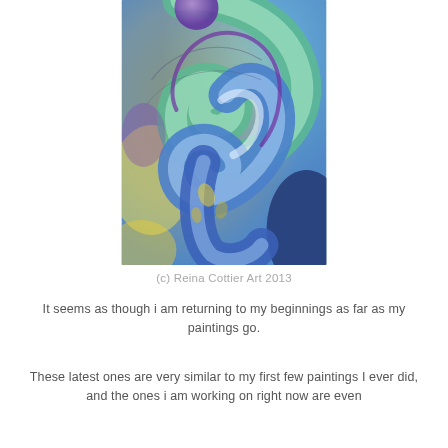[Figure (illustration): Abstract painting featuring swirling forms in blue, green, teal, yellow, and purple, resembling a musical treble clef or fluid organic shapes. The composition has a dreamlike, flowing quality with translucent layered colors.]
(c) Reina Cottier Art 2013
It seems as though i am returning to my beginnings as far as my paintings go.
These latest ones are very similar to my first few paintings I ever did, and the ones i am working on right now are even